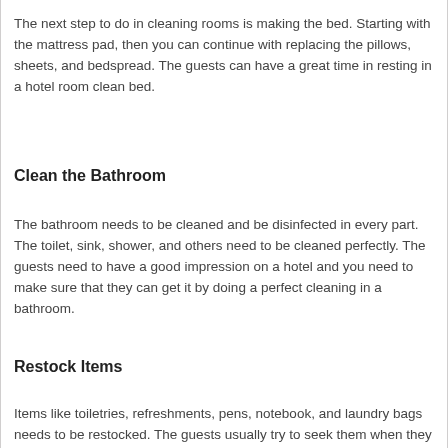The next step to do in cleaning rooms is making the bed. Starting with the mattress pad, then you can continue with replacing the pillows, sheets, and bedspread. The guests can have a great time in resting in a hotel room clean bed.
Clean the Bathroom
The bathroom needs to be cleaned and be disinfected in every part. The toilet, sink, shower, and others need to be cleaned perfectly. The guests need to have a good impression on a hotel and you need to make sure that they can get it by doing a perfect cleaning in a bathroom.
Restock Items
Items like toiletries, refreshments, pens, notebook, and laundry bags needs to be restocked. The guests usually try to seek them when they stay in a hotel. Besides restock the items, you also need to make